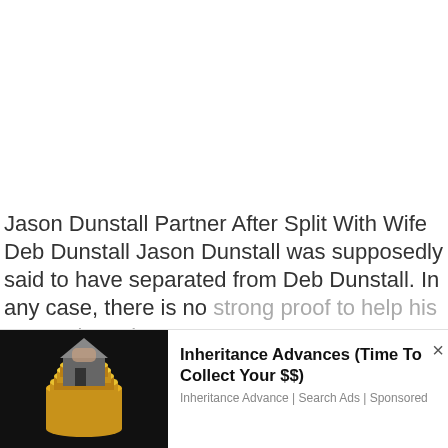Jason Dunstall Partner After Split With Wife Deb Dunstall Jason Dunstall was supposedly said to have separated from Deb Dunstall. In any case, there is no strong proof to help his separation tales.
We use cookies on our website to give you the most relevant experience by remembering your preferences and repeat visits. By clicking "Accept All", you consent to the use of ALL the cookies. However, you may visit "Cookie Settings" to provide a controlled consent.
[Figure (photo): A hand holding a miniature house model on top of a stack of gold coins against a dark background — advertisement image for Inheritance Advances.]
Inheritance Advances (Time To Collect Your $$)
Inheritance Advance | Search Ads | Sponsored